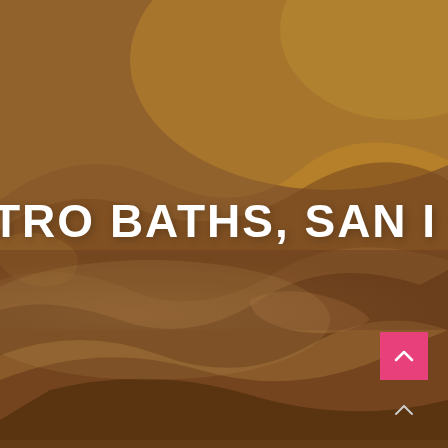[Figure (photo): Close-up photograph of rocky stone surface with warm golden-brown and reddish-brown tones, textured natural rock formations suggesting a hot spring or bath environment.]
TRO BATHS, SAN ...